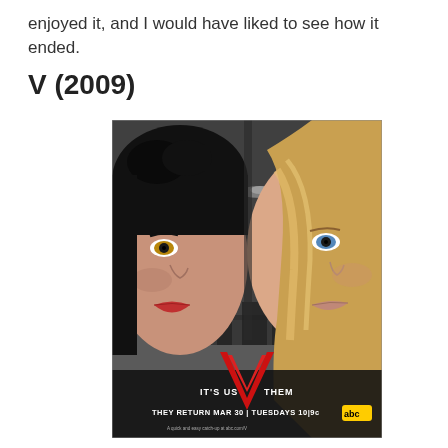enjoyed it, and I would have liked to see how it ended.
V (2009)
[Figure (photo): TV show promotional poster for V (2009). Two women's faces dominate the foreground — one dark-haired on the left, one blonde on the right — with alien spaceships in the sky behind them. A large red V logo is at the center bottom. Text reads: IT'S US V THEM / THEY RETURN MAR 30 | TUESDAYS 10|9c abc]